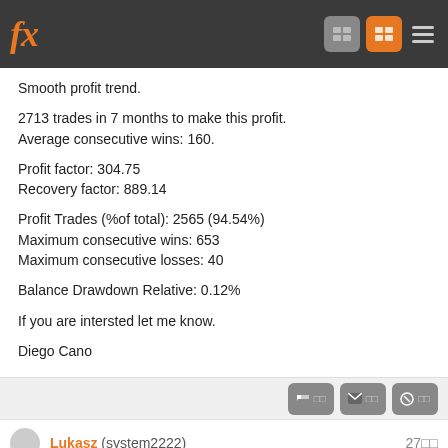fx
Smooth profit trend.
2713 trades in 7 months to make this profit.
Average consecutive wins: 160.
Profit factor: 304.75
Recovery factor: 889.14
Profit Trades (%of total): 2565 (94.54%)
Maximum consecutive wins: 653
Maximum consecutive losses: 40
Balance Drawdown Relative: 0.12%
If you are intersted let me know.
Diego Cano
Lukasz (system2222)  27